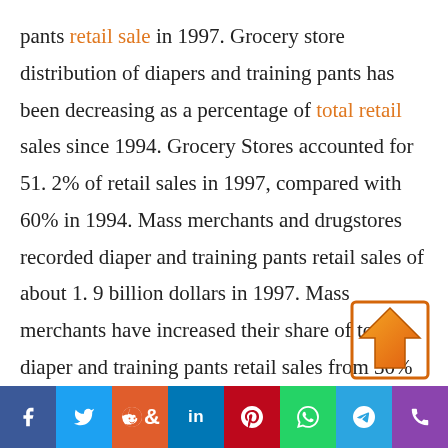pants retail sale in 1997. Grocery store distribution of diapers and training pants has been decreasing as a percentage of total retail sales since 1994. Grocery Stores accounted for 51. 2% of retail sales in 1997, compared with 60% in 1994. Mass merchants and drugstores recorded diaper and training pants retail sales of about 1. 9 billion dollars in 1997. Mass merchants have increased their share of total diaper and training pants retail sales from 30% in 1994 to 39. % in 1997. The drugstore share of diaper and training pants retail sales has declined from 10% in 1994 to 9. 2% in